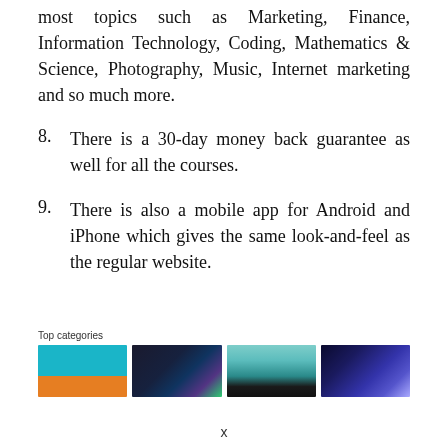most topics such as Marketing, Finance, Information Technology, Coding, Mathematics & Science, Photography, Music, Internet marketing and so much more.
8. There is a 30-day money back guarantee as well for all the courses.
9. There is also a mobile app for Android and iPhone which gives the same look-and-feel as the regular website.
[Figure (screenshot): Top categories section showing four thumbnail images labeled 'Top categories']
x